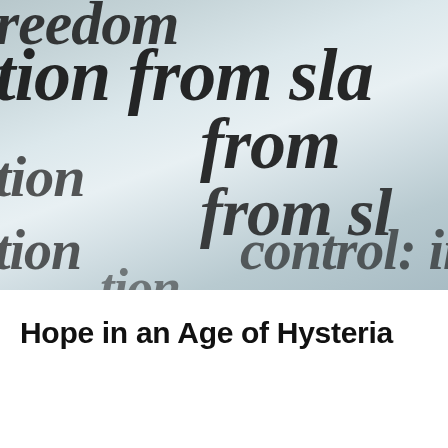[Figure (photo): Close-up photograph of dictionary or book text, showing blurred serif italic text with words including 'freedom', 'from', 'tion', 'slavery', 'control', 'independence'. The image has a blue-gray tonal color palette, with the text in sharp black against a light grayish-blue background.]
Hope in an Age of Hysteria